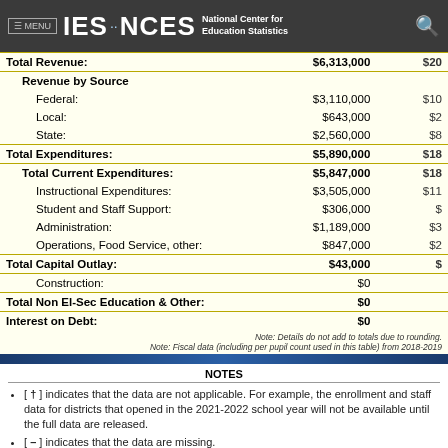IES · NCES National Center for Education Statistics
|  | District | State |
| --- | --- | --- |
| Total Revenue: | $6,313,000 | $20... |
| Revenue by Source |  |  |
| Federal: | $3,110,000 | $10... |
| Local: | $643,000 | $2... |
| State: | $2,560,000 | $8... |
| Total Expenditures: | $5,890,000 | $18... |
| Total Current Expenditures: | $5,847,000 | $18... |
| Instructional Expenditures: | $3,505,000 | $11... |
| Student and Staff Support: | $306,000 | $... |
| Administration: | $1,189,000 | $3... |
| Operations, Food Service, other: | $847,000 | $2... |
| Total Capital Outlay: | $43,000 | $... |
| Construction: | $0 |  |
| Total Non El-Sec Education & Other: | $0 |  |
| Interest on Debt: | $0 |  |
Note: Details do not add to totals due to rounding.
Note: Fiscal data (including per pupil count used in this table) from 2018-2019
NOTES
[ † ] indicates that the data are not applicable. For example, the enrollment and staff data for districts that opened in the 2021-2022 school year will not be available until the full data are released.
[ – ] indicates that the data are missing.